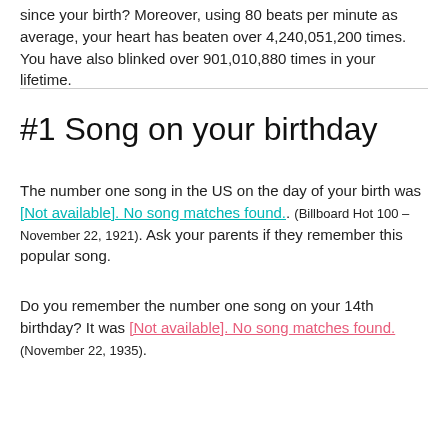since your birth? Moreover, using 80 beats per minute as average, your heart has beaten over 4,240,051,200 times. You have also blinked over 901,010,880 times in your lifetime.
#1 Song on your birthday
The number one song in the US on the day of your birth was [Not available]. No song matches found.. (Billboard Hot 100 – November 22, 1921). Ask your parents if they remember this popular song.
Do you remember the number one song on your 14th birthday? It was [Not available]. No song matches found. (November 22, 1935).